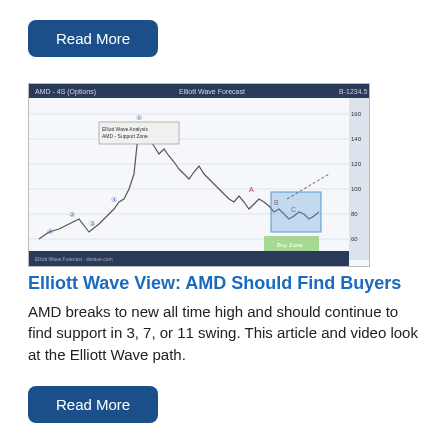[Figure (screenshot): Elliott Wave chart screenshot for AMD stock showing price movement with Elliott Wave labels, a blue shaded support zone, and a green target box at the bottom.]
Elliott Wave View: AMD Should Find Buyers
AMD breaks to new all time high and should continue to find support in 3, 7, or 11 swing. This article and video look at the Elliott Wave path.
[Figure (screenshot): Elliott Wave chart screenshot for another stock (PRL) showing price movement with Elliott Wave labels, a green circled region, and upward projected path.]